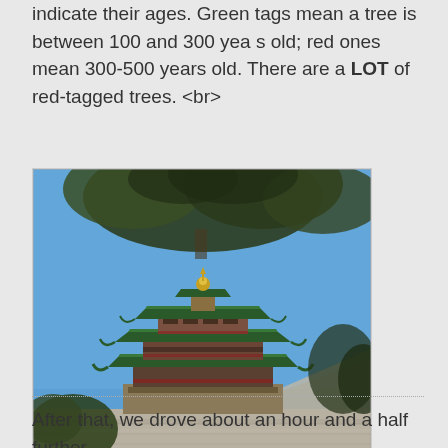indicate their ages. Green tags mean a tree is between 100 and 300 yea s old; red ones mean 300-500 years old. There are a LOT of red-tagged trees. <br>
[Figure (photo): Photo of a traditional Chinese multi-tiered pagoda tower (Summer Palace) with a large pine tree in the foreground and a clear blue sky in the background.]
After that, we drove about an hour and a half further to the Mutianyu section of the Great Wall. We...